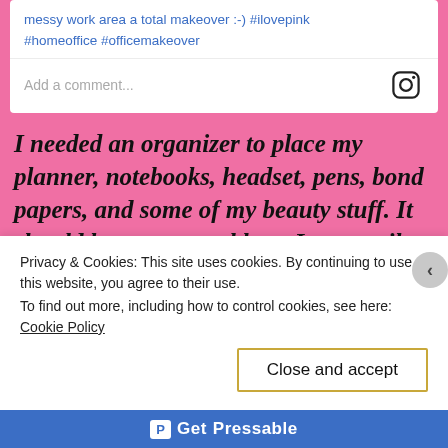messy work area a total makeover :-) #ilovepink #homeoffice #officemakeover
Add a comment...
I needed an organizer to place my planner, notebooks, headset, pens, bond papers, and some of my beauty stuff. It should be near my table so I can easily grab the things I need.
[Figure (photo): Two photos partially visible: left shows a brown/golden textured surface, right shows a dark image with light reflection]
Privacy & Cookies: This site uses cookies. By continuing to use this website, you agree to their use.
To find out more, including how to control cookies, see here: Cookie Policy
Close and accept
Get P Pressable